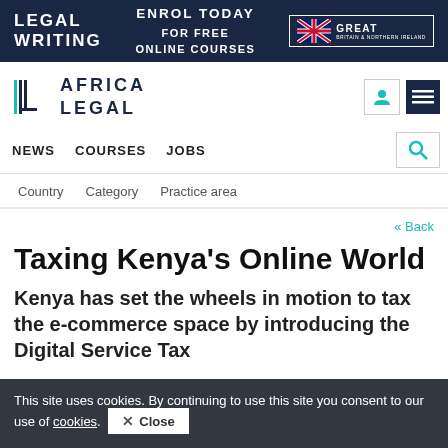[Figure (screenshot): Dark navy banner advertisement: LEGAL WRITING on the left, ENROL TODAY FOR FREE ONLINE COURSES in the center, and GREAT Britain & Northern Ireland logo with UK flag on the right]
[Figure (logo): Africa Legal logo with stylized bracket icon and AFRICA LEGAL text, plus user icon and hamburger menu]
NEWS   COURSES   JOBS
Country   Category   Practice area
« Back
Taxing Kenya's Online World
Kenya has set the wheels in motion to tax the e-commerce space by introducing the Digital Service Tax
This site uses cookies. By continuing to use this site you consent to our use of cookies.  Close